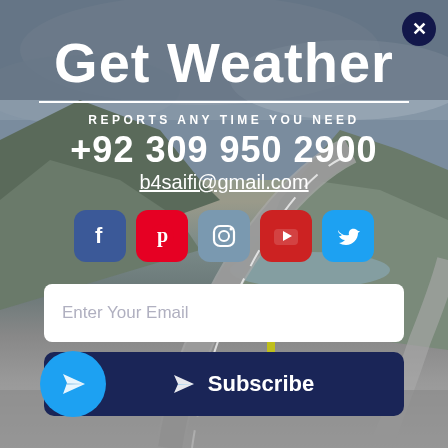[Figure (photo): Scenic winding road through mountainous landscape with overcast sky, hills and a lake in the background]
Get Weather
REPORTS ANY TIME YOU NEED
+92 309 950 2900
b4saifi@gmail.com
[Figure (infographic): Row of 5 social media icon buttons: Facebook (blue), Pinterest (red), Instagram (steel blue), YouTube (red), Twitter (cyan)]
Enter Your Email
Subscribe